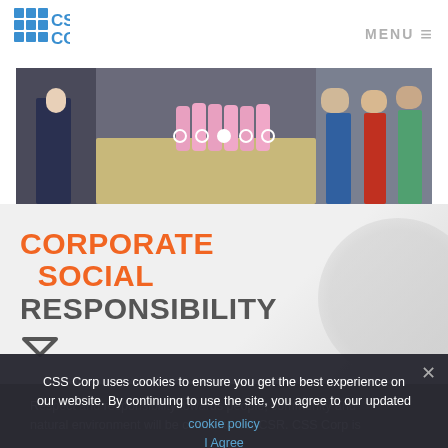CSS Corp | MENU
[Figure (photo): Group of people standing around a table with pink bottles/dispensers]
CORPORATE SOCIAL RESPONSIBILITY
Respect and responsibility towards people, community and natural environment will be central to our CSR. CSS Corp is
CSS Corp uses cookies to ensure you get the best experience on our website. By continuing to use the site, you agree to our updated cookie policy
I Agree